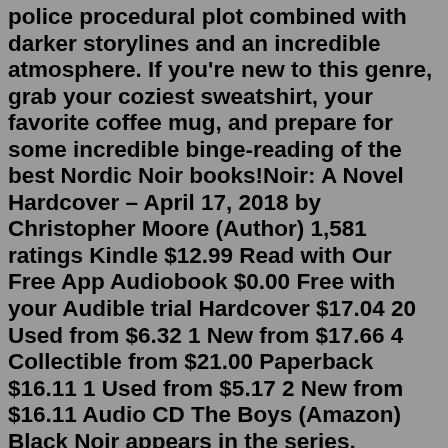police procedural plot combined with darker storylines and an incredible atmosphere. If you're new to this genre, grab your coziest sweatshirt, your favorite coffee mug, and prepare for some incredible binge-reading of the best Nordic Noir books!Noir: A Novel Hardcover – April 17, 2018 by Christopher Moore (Author) 1,581 ratings Kindle $12.99 Read with Our Free App Audiobook $0.00 Free with your Audible trial Hardcover $17.04 20 Used from $6.32 1 New from $17.66 4 Collectible from $21.00 Paperback $16.11 1 Used from $5.17 2 New from $16.11 Audio CD The Boys (Amazon) Black Noir appears in the series, portrayed by Nathan Mitchell. The evidence of his superpowers is left in question during Season 1. In Season 2, we witness Black Noir using...Noir fiction is characterized by cynicism, fatalism, and moral ambiguity. Similar to its successful films, I love when you feel for an anti-hero. That despite their questionable motives, the author or director manages to make you root for them in the end. I wrote... Stalker Stalked By Lee Matthew Goldberg What is